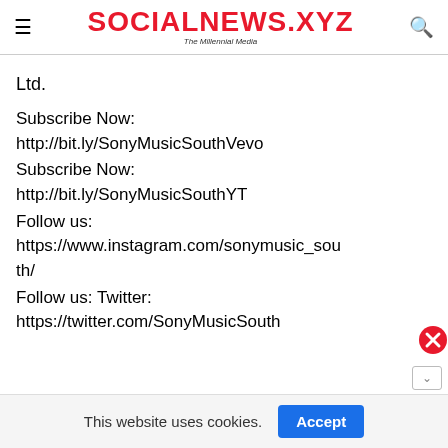SOCIALNEWS.XYZ The Millennial Media
Ltd.

Subscribe Now: http://bit.ly/SonyMusicSouthVevo
Subscribe Now: http://bit.ly/SonyMusicSouthYT
Follow us: https://www.instagram.com/sonymusic_south/
Follow us: Twitter: https://twitter.com/SonyMusicSouth
This website uses cookies.